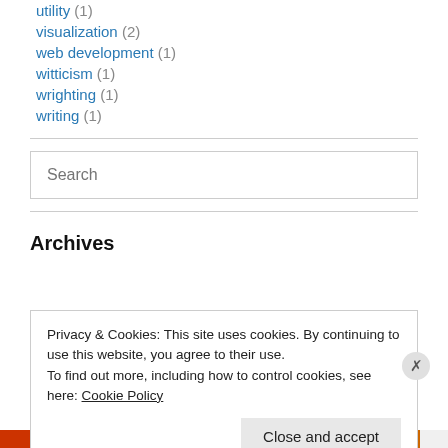utility (1)
visualization (2)
web development (1)
witticism (1)
wrighting (1)
writing (1)
Search
Archives
Privacy & Cookies: This site uses cookies. By continuing to use this website, you agree to their use.
To find out more, including how to control cookies, see here: Cookie Policy
Close and accept